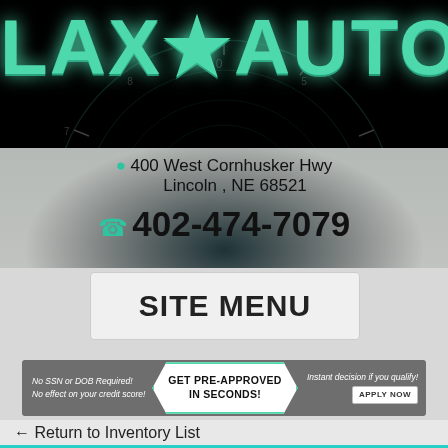[Figure (logo): LAX AUTO dealership logo with star, teal/green text on black background]
400 West Cornhusker Hwy
Lincoln , NE 68521
402-474-7079
SITE MENU
[Figure (infographic): GET PRE-APPROVED IN SECONDS! banner with No SSN or DOB Required, No effect on your credit score, Instant decision if you qualify, APPLY NOW button]
← Return to Inventory List
2020 Lamborghini Huracan